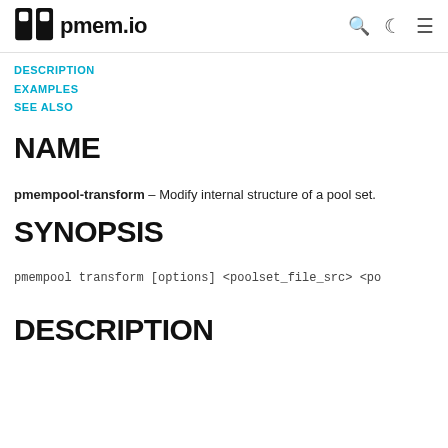pmem.io
DESCRIPTION
EXAMPLES
SEE ALSO
NAME
pmempool-transform - Modify internal structure of a pool set.
SYNOPSIS
pmempool transform [options] <poolset_file_src> <po
DESCRIPTION